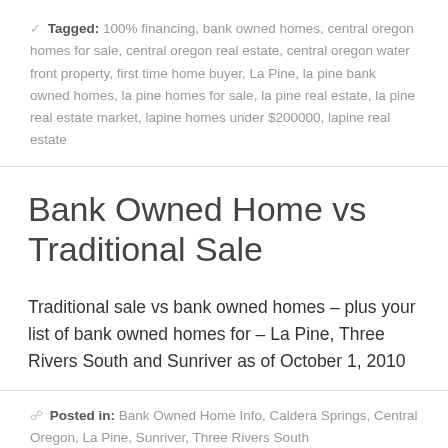Tagged: 100% financing, bank owned homes, central oregon homes for sale, central oregon real estate, central oregon water front property, first time home buyer, La Pine, la pine bank owned homes, la pine homes for sale, la pine real estate, la pine real estate market, lapine homes under $200000, lapine real estate
Bank Owned Home vs Traditional Sale
Traditional sale vs bank owned homes – plus your list of bank owned homes for – La Pine, Three Rivers South and Sunriver as of October 1, 2010
Posted in: Bank Owned Home Info, Caldera Springs, Central Oregon, La Pine, Sunriver, Three Rivers South